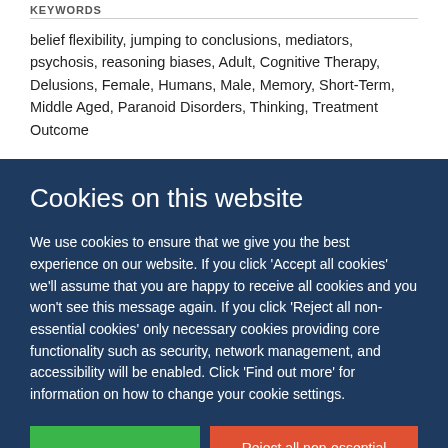KEYWORDS
belief flexibility, jumping to conclusions, mediators, psychosis, reasoning biases, Adult, Cognitive Therapy, Delusions, Female, Humans, Male, Memory, Short-Term, Middle Aged, Paranoid Disorders, Thinking, Treatment Outcome
Cookies on this website
We use cookies to ensure that we give you the best experience on our website. If you click 'Accept all cookies' we'll assume that you are happy to receive all cookies and you won't see this message again. If you click 'Reject all non-essential cookies' only necessary cookies providing core functionality such as security, network management, and accessibility will be enabled. Click 'Find out more' for information on how to change your cookie settings.
Accept all cookies
Reject all non-essential cookies